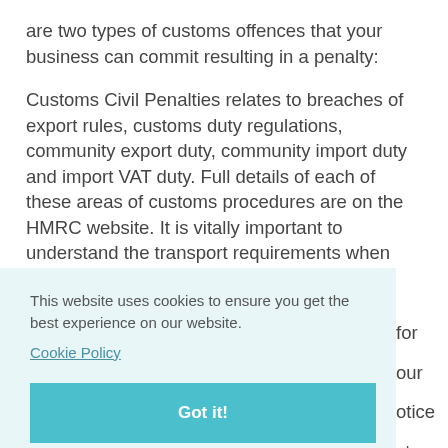are two types of customs offences that your business can commit resulting in a penalty:
Customs Civil Penalties relates to breaches of export rules, customs duty regulations, community export duty, community import duty and import VAT duty. Full details of each of these areas of customs procedures are on the HMRC website. It is vitally important to understand the transport requirements when [text continues behind cookie banner] ...for ...our ...otice ...st ...d, ...aud.
This website uses cookies to ensure you get the best experience on our website. Cookie Policy
Got it!